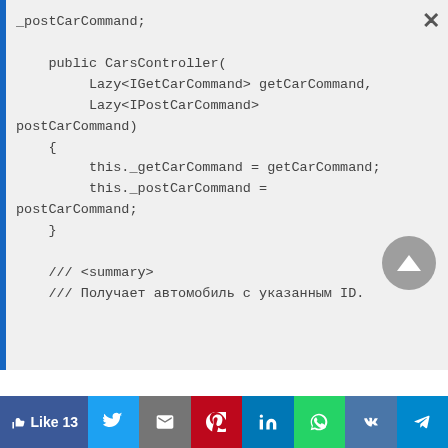[Figure (screenshot): Code snippet showing C# CarsController constructor with Lazy<IGetCarCommand> and Lazy<IPostCarCommand> parameters, assigning them to private fields. Below are XML doc comments with summary and Russian text.]
Like 13  [Twitter] [Gmail] [Pinterest] [LinkedIn] [WhatsApp] [VK] [Telegram]